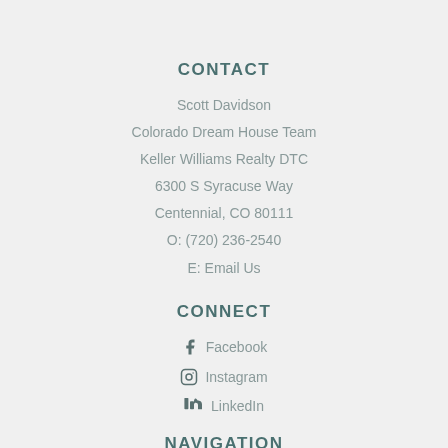CONTACT
Scott Davidson
Colorado Dream House Team
Keller Williams Realty DTC
6300 S Syracuse Way
Centennial, CO 80111
O: (720) 236-2540
E: Email Us
CONNECT
Facebook
Instagram
LinkedIn
NAVIGATION